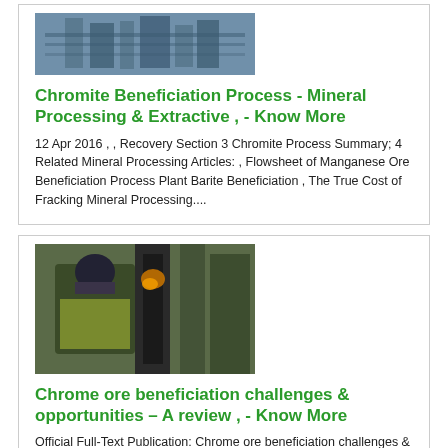[Figure (photo): Industrial facility or processing plant, bluish-grey toned photo]
Chromite Beneficiation Process - Mineral Processing & Extractive , - Know More
12 Apr 2016 , , Recovery Section 3 Chromite Process Summary; 4 Related Mineral Processing Articles: , Flowsheet of Manganese Ore Beneficiation Process Plant Barite Beneficiation , The True Cost of Fracking Mineral Processing....
[Figure (photo): Person working with industrial equipment, dark tones]
Chrome ore beneficiation challenges & opportunities – A review , - Know More
Official Full-Text Publication: Chrome ore beneficiation challenges & opportunities – A review on , different processes developed in identifying and solving critical plant problems , chrome produced (mainly high-carbon/charge grade)